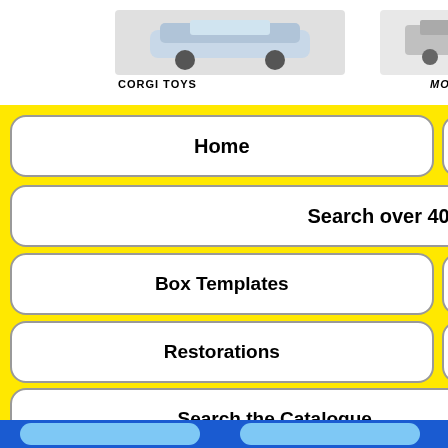[Figure (illustration): Header banner with toy vehicles (Corgi, Matchbox/Motorbox, Dinky Toys) logos and images]
Home
Contact
Search over 4000 models
Box Templates
Restoration Tips
Restorations
View the Catalogues
Search the Catalogue
Oddities
Box Maker
Dinky SuperBox Maker
Dinky, Corgi, and other diecast toy restorations, collections. Resprays, Axle Repairs, parts, body repair, refurbishing. Demonstration Videos showing how to restore model diecast toys. Automec Autosculpt Miniatures Barclay Burton Borju Bombros Bradshaw Britntoy Welsotoys Britains Budgie CIJ Castle Art Charbens Clarkes Toys Corgi Corgi Junior Corgi Juniors Corgi Kits Corgi Whizzwheels Concord Concord DCMT DX251 DCMT BCMT Crescent Dan Toys Days Gear Dinky Dinky Atlas Dinky Dublo Dinky France Dinky Junior Ertl FTC and Sons GAIETEY PRODUCT CASTLE ART LTD Galaxy Toys Gator Toys Gillon Grandor Hornby Hubley Husky Imperial Johillco John Hill and Co Johilco Jordan and Londen River Series Kerdav Merdave Lehman GNOM Lesney Lester Models of Yesteryear Lledo Loan Marx Londtoys